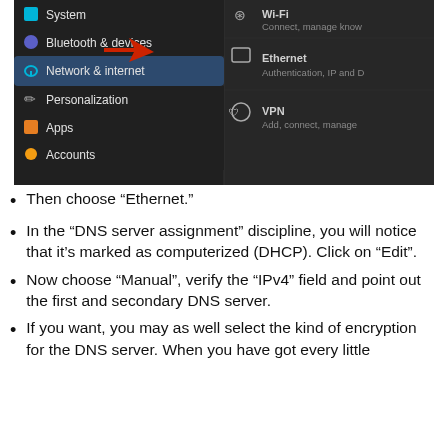[Figure (screenshot): Windows 11 Settings screenshot showing left sidebar with System, Bluetooth & devices, Network & internet (highlighted/selected with red arrow pointing to it), Personalization, Apps, Accounts. Right side shows Wi-Fi, Ethernet, VPN options.]
Then choose “Ethernet.”
In the “DNS server assignment” discipline, you will notice that it’s marked as computerized (DHCP). Click on “Edit”.
Now choose “Manual”, verify the “IPv4” field and point out the first and secondary DNS server.
If you want, you may as well select the kind of encryption for the DNS server. When you have got every little